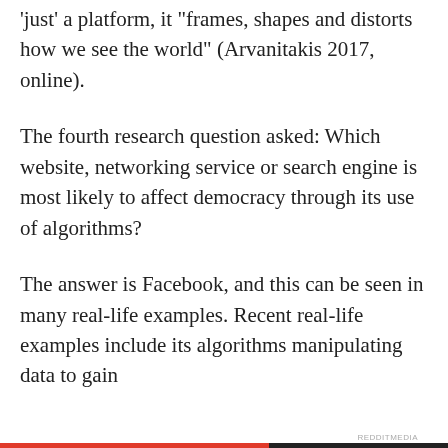'just' a platform, it "frames, shapes and distorts how we see the world" (Arvanitakis 2017, online).
The fourth research question asked: Which website, networking service or search engine is most likely to affect democracy through its use of algorithms?
The answer is Facebook, and this can be seen in many real-life examples. Recent real-life examples include its algorithms manipulating data to gain
Privacy & Cookies: This site uses cookies. By continuing to use this website, you agree to their use.
To find out more, including how to control cookies, see here: Cookie Policy